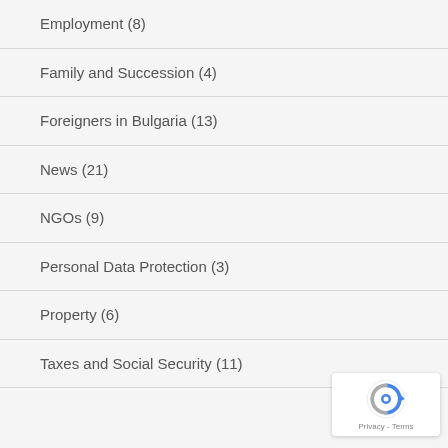Employment (8)
Family and Succession (4)
Foreigners in Bulgaria (13)
News (21)
NGOs (9)
Personal Data Protection (3)
Property (6)
Taxes and Social Security (11)